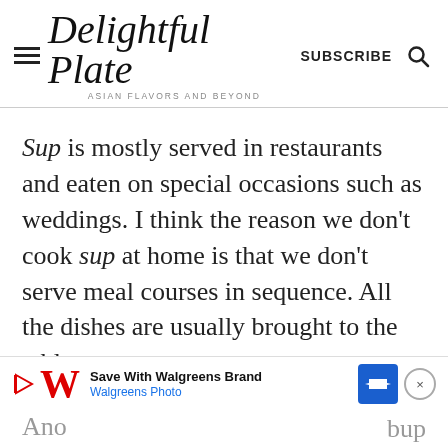Delightful Plate — ASIAN FLAVORS and BEYOND — SUBSCRIBE
Sup is mostly served in restaurants and eaten on special occasions such as weddings. I think the reason we don't cook sup at home is that we don't serve meal courses in sequence. All the dishes are usually brought to the tabl...
[Figure (other): Walgreens advertisement banner: Save With Walgreens Brand — Walgreens Photo, with Walgreens W logo, play button icon, blue arrow road sign icon, and close X button]